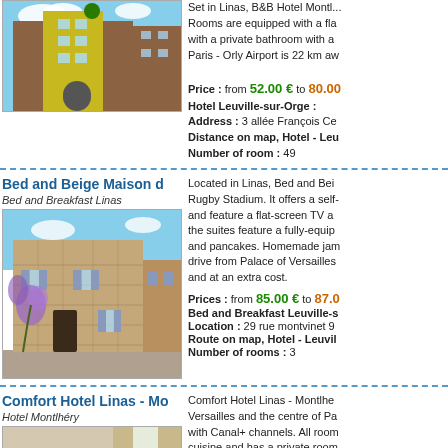[Figure (photo): Exterior of B&B Hotel Montlhery, yellow and brown facade]
Set in Linas, B&B Hotel Montlhery. Rooms are equipped with a flat screen TV with a private bathroom with a... Paris - Orly Airport is 22 km aw...
Price : from 52.00 € to 80.00...
Hotel Leuville-sur-Orge :
Address : 3 allée François Ce...
Distance on map, Hotel - Leu...
Number of room : 49
Bed and Beige Maison d...
Bed and Breakfast Linas
[Figure (photo): Stone farmhouse with purple wisteria and blue shutters]
Located in Linas, Bed and Bei... Rugby Stadium. It offers a self-... and feature a flat-screen TV a... the suites feature a fully-equip... and pancakes. Homemade jam... drive from Palace of Versailles... and at an extra cost.
Prices : from 85.00 € to 87.0...
Bed and Breakfast Leuville-s...
Location : 29 rue montvinet 9...
Route on map, Hotel - Leuvil...
Number of rooms : 3
Comfort Hotel Linas - Mo...
Hotel Montlhéry
[Figure (photo): Hotel room interior with bed and window]
Comfort Hotel Linas - Montlhe... Versailles and the centre of Pa... with Canal+ channels. All room... cuisine and has a private room... ...